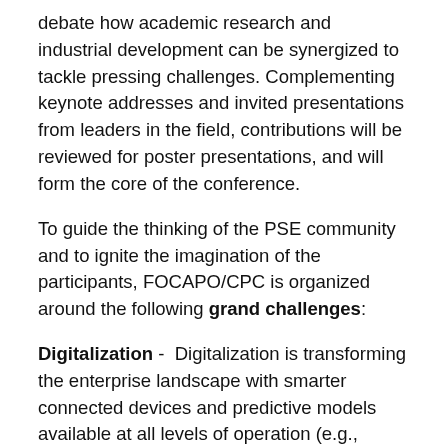debate how academic research and industrial development can be synergized to tackle pressing challenges. Complementing keynote addresses and invited presentations from leaders in the field, contributions will be reviewed for poster presentations, and will form the core of the conference.
To guide the thinking of the PSE community and to ignite the imagination of the participants, FOCAPO/CPC is organized around the following grand challenges:
Digitalization - Digitalization is transforming the enterprise landscape with smarter connected devices and predictive models available at all levels of operation (e.g., control, planning, scheduling, supply chains). New and complex sources of data are also becoming available and should be used efficiently. Computation and automated decision-making are